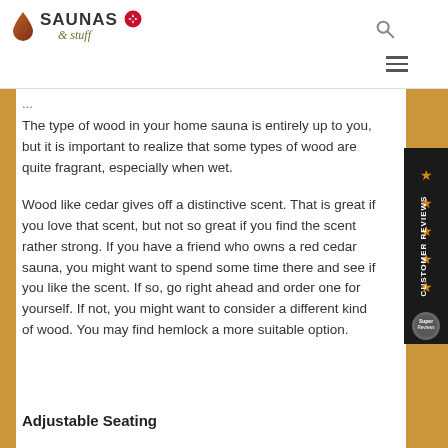[Figure (logo): Saunas & Stuff logo with red maple leaf flame drop icon and green italic ampersand text]
The type of wood in your home sauna is entirely up to you, but it is important to realize that some types of wood are quite fragrant, especially when wet.
Wood like cedar gives off a distinctive scent. That is great if you love that scent, but not so great if you find the scent rather strong. If you have a friend who owns a red cedar sauna, you might want to spend some time there and see if you like the scent. If so, go right ahead and order one for yourself. If not, you might want to consider a different kind of wood. You may find hemlock a more suitable option.
Adjustable Seating
[Figure (infographic): Customer Reviews sidebar banner with gold stars on dark background]